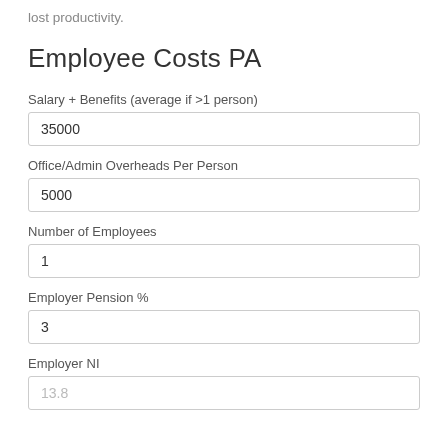lost productivity.
Employee Costs PA
Salary + Benefits (average if >1 person)
35000
Office/Admin Overheads Per Person
5000
Number of Employees
1
Employer Pension %
3
Employer NI
13.8